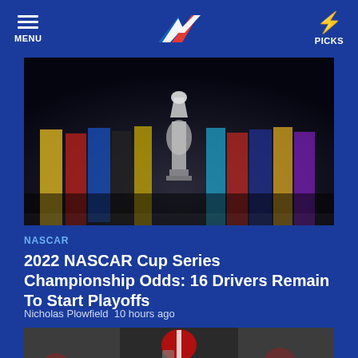MENU | [logo] | PICKS
[Figure (photo): NASCAR drivers standing together in their racing suits with a championship trophy in the center]
NASCAR
2022 NASCAR Cup Series Championship Odds: 16 Drivers Remain To Start Playoffs
Nicholas Plowfield  10 hours ago
[Figure (photo): Alabama football player in red uniform holding a football during a game]